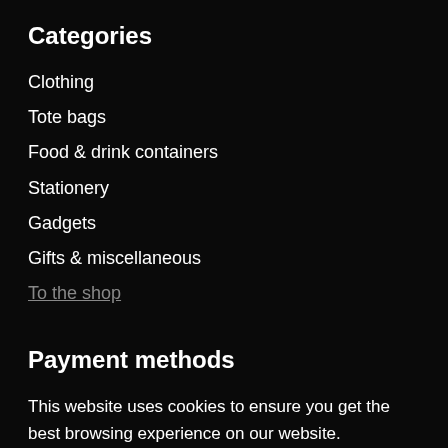Categories
Clothing
Tote bags
Food & drink containers
Stationery
Gadgets
Gifts & miscellaneous
To the shop
Payment methods
This website uses cookies to ensure you get the best browsing experience on our website. × More info